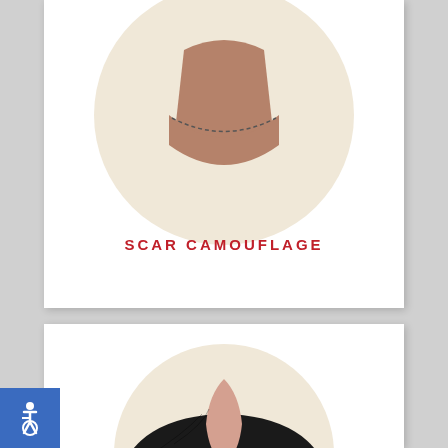[Figure (illustration): Illustration of a face (lower portion, chin and jaw area) with a dotted line indicating scar area on a beige circular background, scar camouflage illustration]
SCAR CAMOUFLAGE
[Figure (illustration): Illustration of the top of a head with black hair and a flesh-colored bald spot/scar area visible at the scalp, on a beige circular background]
[Figure (illustration): Accessibility icon (wheelchair symbol) on a blue square background in the bottom-left corner]